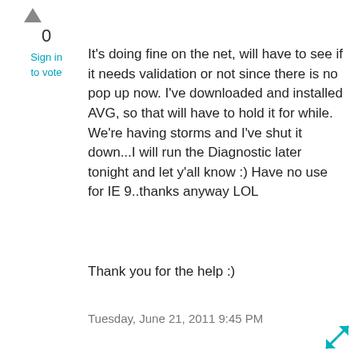[Figure (other): Upvote arrow icon]
0
Sign in to vote
It's doing fine on the net, will have to see if it needs validation or not since there is no pop up now. I've downloaded and installed AVG, so that will have to hold it for while. We're having storms and I've shut it down...I will run the Diagnostic later tonight and let y'all know :) Have no use for IE 9..thanks anyway LOL
Thank you for the help :)
Tuesday, June 21, 2011 9:45 PM
[Figure (other): Corner expand/resize icon with teal arrows]